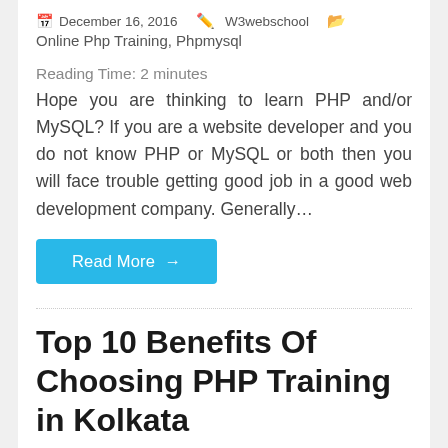December 16, 2016  W3webschool  Online Php Training, Phpmysql
Reading Time: 2 minutes
Hope you are thinking to learn PHP and/or MySQL? If you are a website developer and you do not know PHP or MySQL or both then you will face trouble getting good job in a good web development company. Generally…
Read More →
Top 10 Benefits Of Choosing PHP Training in Kolkata